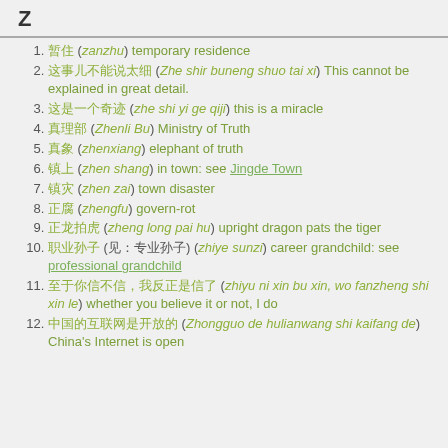Z
暂住 (zanzhu) temporary residence
这事儿不能说太细 (Zhe shir buneng shuo tai xi) This cannot be explained in great detail.
这是一个奇迹 (zhe shi yi ge qiji) this is a miracle
真理部 (Zhenli Bu) Ministry of Truth
真象 (zhenxiang) elephant of truth
镇上 (zhen shang) in town: see Jingde Town
镇灾 (zhen zai) town disaster
正腐 (zhengfu) govern-rot
正龙拍虎 (zheng long pai hu) upright dragon pats the tiger
职业孙子 (见：专业孙子) (zhiye sunzi) career grandchild: see professional grandchild
至于你信不信，我反正是信了 (zhiyu ni xin bu xin, wo fanzheng shi xin le) whether you believe it or not, I do
中国的互联网是开放的 (Zhongguo de hulianwang shi kaifang de) China's Internet is open